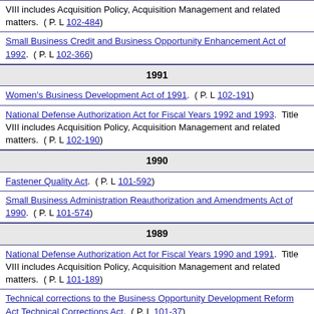VIII includes Acquisition Policy, Acquisition Management and related matters.  ( P. L 102-484)
Small Business Credit and Business Opportunity Enhancement Act of 1992.  ( P. L 102-366)
1991
Women's Business Development Act of 1991.  ( P. L 102-191)
National Defense Authorization Act for Fiscal Years 1992 and 1993.  Title VIII includes Acquisition Policy, Acquisition Management and related matters.  ( P. L 102-190)
1990
Fastener Quality Act.  ( P. L 101-592)
Small Business Administration Reauthorization and Amendments Act of 1990.  ( P. L 101-574)
1989
National Defense Authorization Act for Fiscal Years 1990 and 1991.  Title VIII includes Acquisition Policy, Acquisition Management and related matters.  ( P. L 101-189)
Technical corrections to the Business Opportunity Development Reform Act Technical Corrections Act.  ( P. L 101-37)
Delayed the effective date of section 27 of the Office of Federal Procurement Policy Act. ( P. L 101-28)
1  The source site for this information is the Legal Information